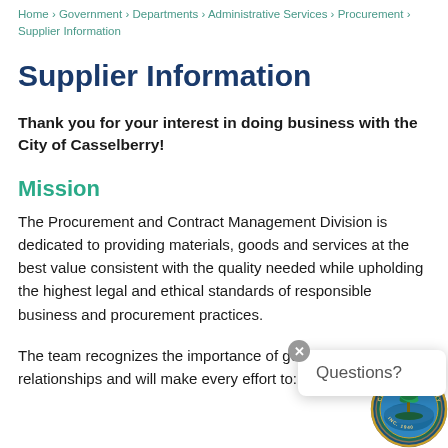Home › Government › Departments › Administrative Services › Procurement › Supplier Information
Supplier Information
Thank you for your interest in doing business with the City of Casselberry!
Mission
The Procurement and Contract Management Division is dedicated to providing materials, goods and services at the best value consistent with the quality needed while upholding the highest legal and ethical standards of responsible business and procurement practices.
The team recognizes the importance of good supplier relationships and will make every effort to:
[Figure (logo): City of Casselberry circular seal with palm tree and water imagery]
Questions?